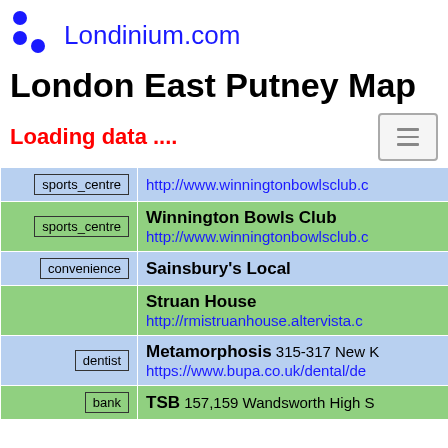Londinium.com
London East Putney Map
Loading data ....
| Tag | Info |
| --- | --- |
| sports_centre | http://www.winningtonbowlsclub.c... |
| sports_centre | Winnington Bowls Club
http://www.winningtonbowlsclub.c... |
| convenience | Sainsbury's Local |
|  | Struan House
http://rmistruanhouse.altervista.c... |
| dentist | Metamorphosis 315-317 New K...
https://www.bupa.co.uk/dental/de... |
| bank | TSB 157,159 Wandsworth High S... |